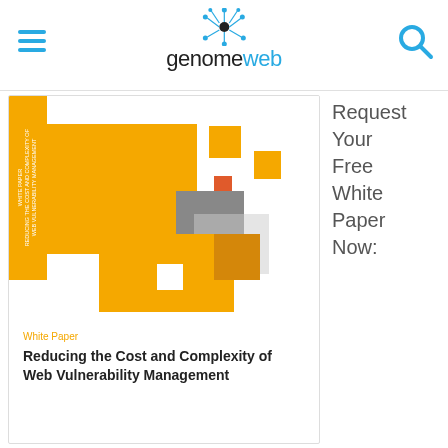genomeweb
[Figure (screenshot): White paper cover image with abstract yellow, orange, gray square shapes on white background, with yellow sidebar stripe containing rotated white text about reducing cost and complexity of web vulnerability management]
White Paper
Reducing the Cost and Complexity of Web Vulnerability Management
Request Your Free White Paper Now: